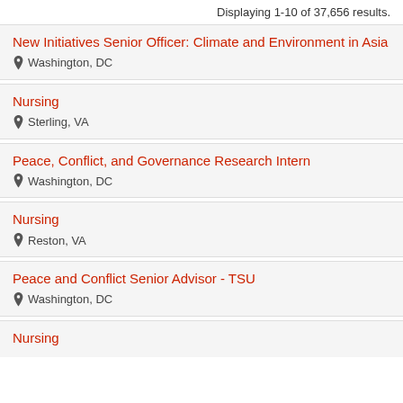Displaying 1-10 of 37,656 results.
New Initiatives Senior Officer: Climate and Environment in Asia | Washington, DC
Nursing | Sterling, VA
Peace, Conflict, and Governance Research Intern | Washington, DC
Nursing | Reston, VA
Peace and Conflict Senior Advisor - TSU | Washington, DC
Nursing